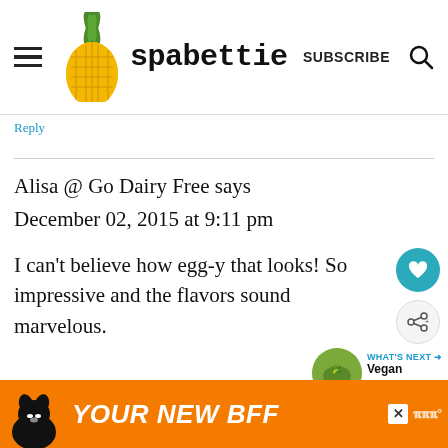spabettie | SUBSCRIBE
Reply
Alisa @ Go Dairy Free says
December 02, 2015 at 9:11 pm

I can't believe how egg-y that looks! So impressive and the flavors sound marvelous.
Reply
[Figure (infographic): WHAT'S NEXT arrow with thumbnail of Vegan Broccoli Ma...]
[Figure (infographic): Ad banner: dog image with YOUR NEW BFF text on orange background]